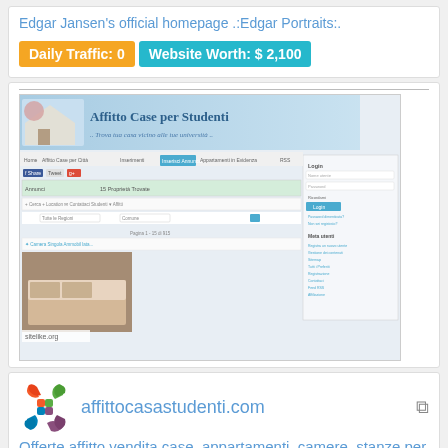Edgar Jansen's official homepage .:Edgar Portraits:.
Daily Traffic: 0   Website Worth: $ 2,100
[Figure (screenshot): Screenshot of affittocasastudenti.com website showing a rental listings page for students with a header banner reading 'Affitto Case per Studenti', navigation bar, property listing with bedroom photo, and a login sidebar. Watermark: sitelike.org]
[Figure (logo): Joomla logo - colorful asterisk/flower symbol in red, green, blue]
affittocasastudenti.com
Offerte affitto vendita case, appartamenti, camere, stanze per studenti città